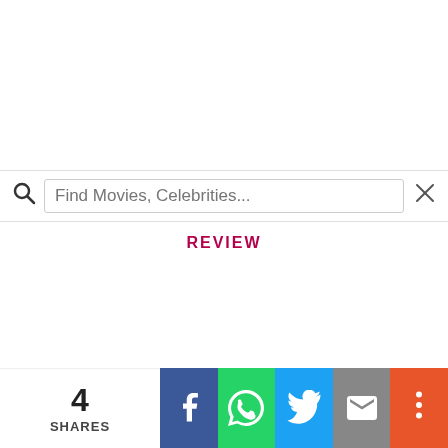[Figure (screenshot): Search bar with magnifying glass icon, placeholder text 'Find Movies, Celebrities...', and an X close button on the right]
REVIEW
[Figure (infographic): Social share bar at the bottom with 4 SHARES count, and buttons for Facebook, WhatsApp, Twitter, Email, and More]